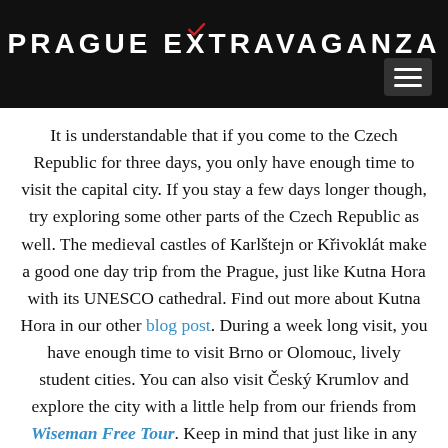PRAGUE EXTRAVAGANZA
It is understandable that if you come to the Czech Republic for three days, you only have enough time to visit the capital city. If you stay a few days longer though, try exploring some other parts of the Czech Republic as well. The medieval castles of Karlštejn or Křivoklát make a good one day trip from the Prague, just like Kutna Hora with its UNESCO cathedral. Find out more about Kutna Hora in our other blog post. During a week long visit, you have enough time to visit Brno or Olomouc, lively student cities. You can also visit Český Krumlov and explore the city with a little help from our friends from Wiseman Free Tour. Keep in mind that just like in any other country, the lifestyle in the capital is different to that outside of it, so visiting other parts of the Czech Republic may